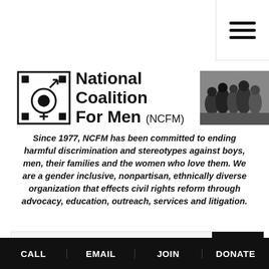[Figure (logo): Hamburger menu icon (three horizontal bars) in top-right corner]
[Figure (logo): National Coalition For Men (NCFM) logo with gear/gender symbol icon and organization name, plus a group photo on the right and '501c' text]
Since 1977, NCFM has been committed to ending harmful discrimination and stereotypes against boys, men, their families and the women who love them. We are a gender inclusive, nonpartisan, ethnically diverse organization that effects civil rights reform through advocacy, education, outreach, services and litigation.
Search Examples: "Fathers"
NCFM Carolinas invites you to their Forum on
CALL   EMAIL   JOIN   DONATE